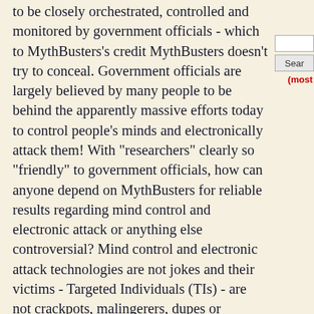to be closely orchestrated, controlled and monitored by government officials - which to MythBusters's credit MythBusters doesn't try to conceal. Government officials are largely believed by many people to be behind the apparently massive efforts today to control people's minds and electronically attack them! With "researchers" clearly so "friendly" to government officials, how can anyone depend on MythBusters for reliable results regarding mind control and electronic attack or anything else controversial? Mind control and electronic attack technologies are not jokes and their victims - Targeted Individuals (TIs) - are not crackpots, malingerers, dupes or comical characters to ridicule but serious people who do not deserve being tortured. Clearly, properly-designed mind control weapons and electronic attack weapons do work - some almost beyond belief. Mind control and electronic attack technologies are extremely grave and dangerous, and by trifling with them, clearly the end result is that the very real victims of these technologies - many Targeted Individuals miserably suffer and even worse every day - are also being mocked and ridiculed by extension, and the longer it will take for the population to understand and so inform...